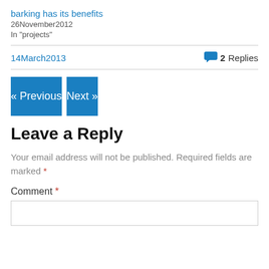barking has its benefits
26November2012
In "projects"
14March2013
2 Replies
« Previous
Next »
Leave a Reply
Your email address will not be published. Required fields are marked *
Comment *